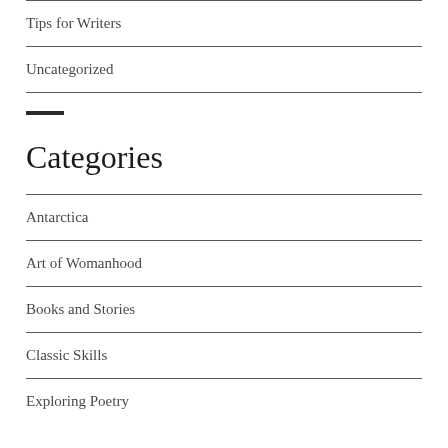Tips for Writers
Uncategorized
Categories
Antarctica
Art of Womanhood
Books and Stories
Classic Skills
Exploring Poetry